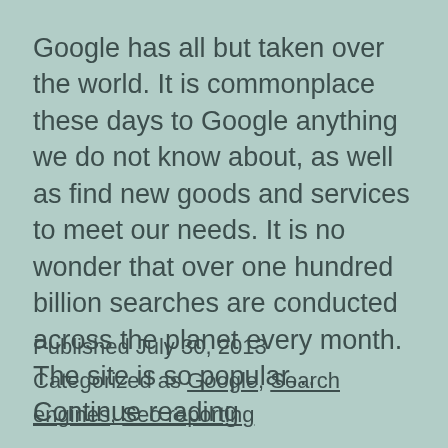Google has all but taken over the world. It is commonplace these days to Google anything we do not know about, as well as find new goods and services to meet our needs. It is no wonder that over one hundred billion searches are conducted across the planet every month. The site is so popular… Continue reading
Published July 30, 2013
Categorized as Google, Search engines, Seo reporting